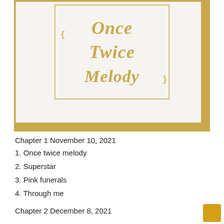[Figure (illustration): Album cover for 'Once Twice Melody' — white/off-white textured cover with gold decorative border and ornate gold lettering reading 'Once Twice Melody']
Chapter 1 November 10, 2021
1. Once twice melody
2. Superstar
3. Pink funerals
4. Through me
Chapter 2 December 8, 2021